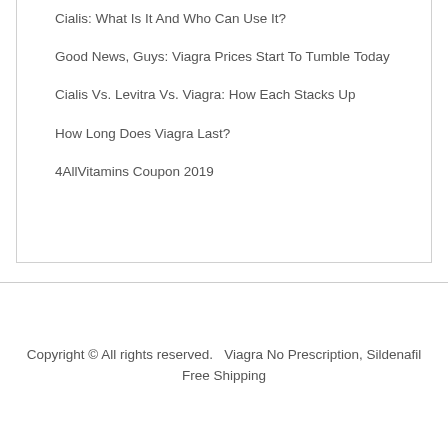Cialis: What Is It And Who Can Use It?
Good News, Guys: Viagra Prices Start To Tumble Today
Cialis Vs. Levitra Vs. Viagra: How Each Stacks Up
How Long Does Viagra Last?
4AllVitamins Coupon 2019
Copyright © All rights reserved.  Viagra No Prescription, Sildenafil Free Shipping